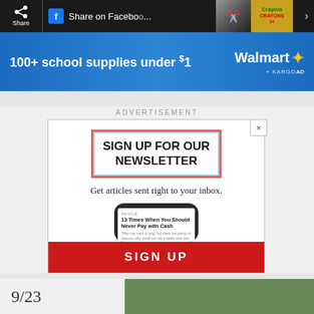Share on Facebook
[Figure (screenshot): Walmart advertisement banner: '100+ school supplies under $1' with Walmart logo and Kargo AD tag]
ADVERTISEMENT
[Figure (screenshot): Newsletter signup ad box with pink/red border title 'SIGN UP FOR OUR NEWSLETTER', subtitle 'Get articles sent right to your inbox.', phone mockup showing '13 Times When You Should Never Pay with Cash' article, and a red SIGN UP button]
9/23